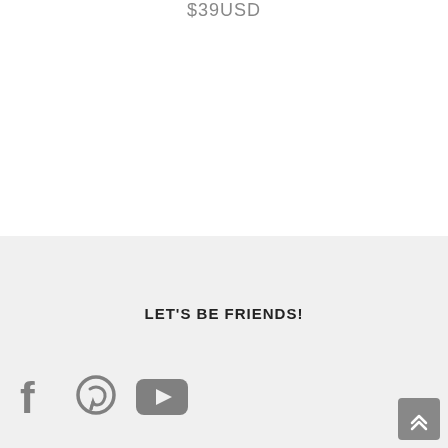$39USD
LET'S BE FRIENDS!
[Figure (logo): Social media icons: Facebook, Pinterest, YouTube, and a back-to-top button with double chevron up arrow]